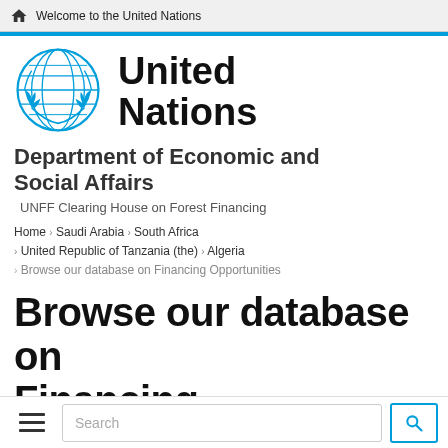Welcome to the United Nations
[Figure (logo): United Nations emblem logo in blue]
United Nations
Department of Economic and Social Affairs
UNFF Clearing House on Forest Financing
Home › Saudi Arabia › South Africa › United Republic of Tanzania (the) › Algeria › Browse our database on Financing Opportunities
Browse our database on Financing Opportunities